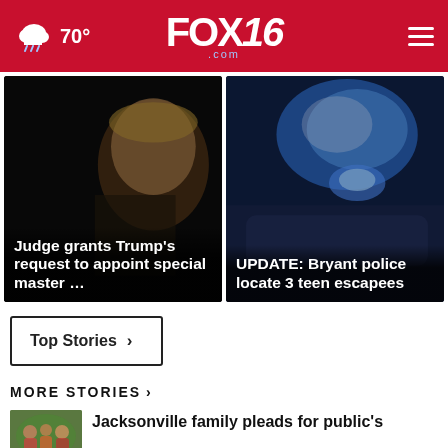FOX16.com — 70° — navigation header
[Figure (photo): News card: man's face in shadows on dark background, headline 'Judge grants Trump's request to appoint special master ...']
[Figure (photo): News card: police car with blue flashing lights, headline 'UPDATE: Bryant police locate 3 teen escapees']
Top Stories ▶
MORE STORIES ▶
[Figure (photo): Thumbnail for Jacksonville family story]
Jacksonville family pleads for public's